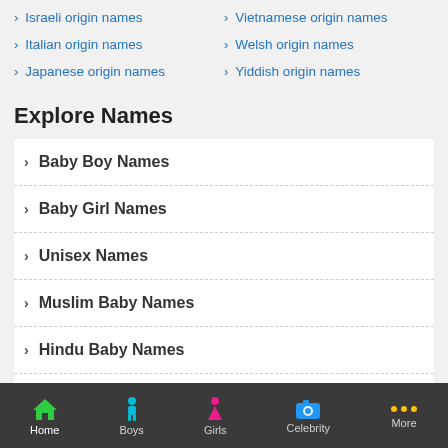Israeli origin names
Vietnamese origin names
Italian origin names
Welsh origin names
Japanese origin names
Yiddish origin names
Explore Names
Baby Boy Names
Baby Girl Names
Unisex Names
Muslim Baby Names
Hindu Baby Names
Sikh Baby Names
Home | Boys | Girls | Celebrity | More